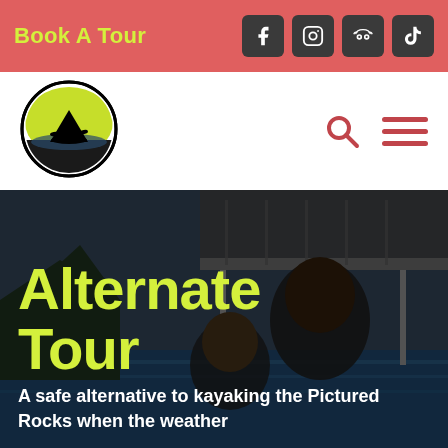Book A Tour
[Figure (logo): Kayaker silhouette logo in black circle with yellow-green background]
Alternate Tour
A safe alternative to kayaking the Pictured Rocks when the weather